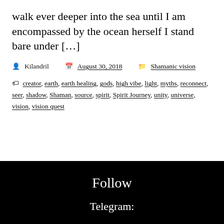walk ever deeper into the sea until I am encompassed by the ocean herself I stand bare under […]
Kilandril   August 30, 2018   Shamanic vision
creator, earth, earth healing, gods, high vibe, light, myths, reconnect, seer, shadow, Shaman, source, spirit, Spirit Journey, unity, universe, vision, vision quest
Follow
Telegram: